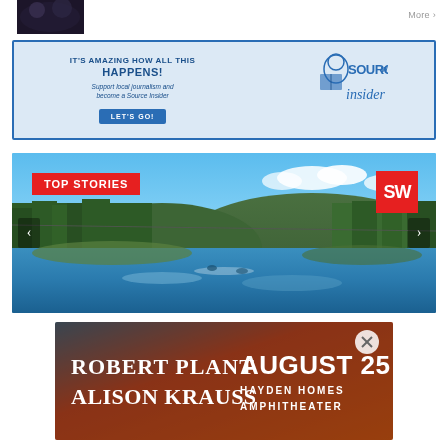[Figure (photo): Partial dark/blurry photo in top-left corner, small thumbnail]
More >
[Figure (infographic): Source Weekly advertisement banner: IT'S AMAZING HOW ALL THIS HAPPENS! Support local journalism and become a Source Insider. LET'S GO! button. Illustration of person reading Source Weekly magazine.]
[Figure (photo): Top Stories slideshow banner with photo of a river scene with rapids, trees, and blue sky. Red TOP STORIES label on left, SW logo on right. Left and right navigation arrows.]
[Figure (infographic): Advertisement for Robert Plant and Alison Krauss, August 25, Hayden Homes Amphitheater. Dark orange/brown gradient background with artist names in white serif font.]